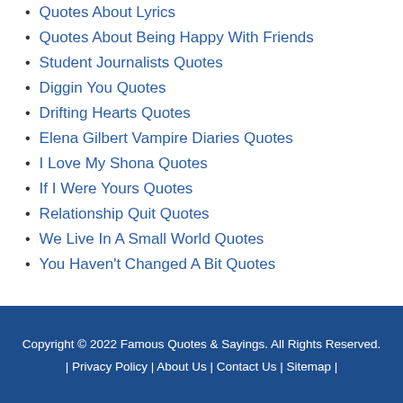Quotes About Lyrics
Quotes About Being Happy With Friends
Student Journalists Quotes
Diggin You Quotes
Drifting Hearts Quotes
Elena Gilbert Vampire Diaries Quotes
I Love My Shona Quotes
If I Were Yours Quotes
Relationship Quit Quotes
We Live In A Small World Quotes
You Haven't Changed A Bit Quotes
Copyright © 2022 Famous Quotes & Sayings. All Rights Reserved. | Privacy Policy | About Us | Contact Us | Sitemap |